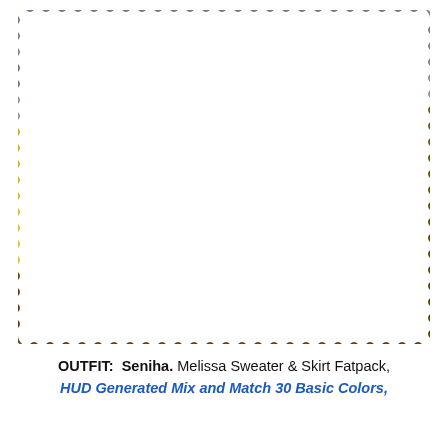[Figure (photo): A digital avatar woman wearing a black sweater crop top and black mini skirt with a belt, green handbag, and black strappy heels, standing in an autumn field with yellow flowers and orange-brown foliage, with a house and trees in the background. Watermark reads 'Lilliana Corleone' in the lower left.]
OUTFIT: Seniha. Melissa Sweater & Skirt Fatpack, HUD Generated Mix and Match 30 Basic Colors,